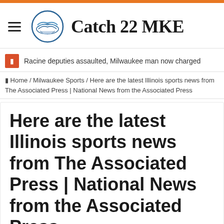Catch 22 MKE
Racine deputies assaulted, Milwaukee man now charged
Home / Milwaukee Sports / Here are the latest Illinois sports news from The Associated Press | National News from the Associated Press
Here are the latest Illinois sports news from The Associated Press | National News from the Associated Press
Marc Womack  November 11, 2021  Milwaukee Sports  Leave a comment  36 Views